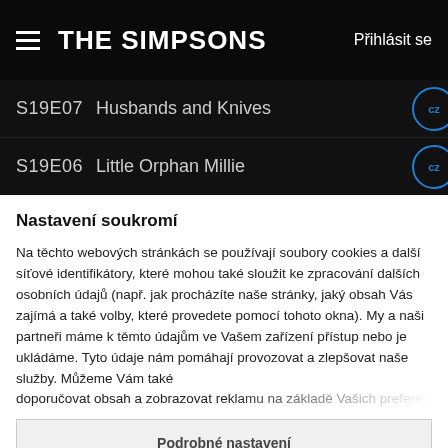THE SIMPSONS   Přihlásit se
S19E07   Husbands and Knives
S19E06   Little Orphan Millie
Nastavení soukromí
Na těchto webových stránkách se používají soubory cookies a další síťové identifikátory, které mohou také sloužit ke zpracování dalších osobních údajů (např. jak procházíte naše stránky, jaký obsah Vás zajímá a také volby, které provedete pomocí tohoto okna). My a naši partneři máme k těmto údajům ve Vašem zařízení přístup nebo je ukládáme. Tyto údaje nám pomáhají provozovat a zlepšovat naše služby. Můžeme Vám také doporučovat obsah a zobrazovat reklamu na základě Vašich preferencí. Pro
Podrobné nastavení
Rozumím a přijímám